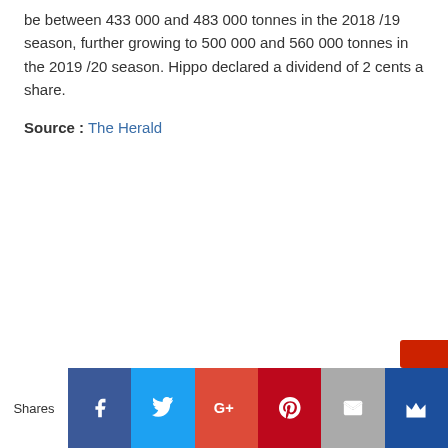be between 433 000 and 483 000 tonnes in the 2018 /19 season, further growing to 500 000 and 560 000 tonnes in the 2019 /20 season. Hippo declared a dividend of 2 cents a share.
Source : The Herald
[Figure (infographic): Social media share bar at the bottom with Facebook, Twitter, Google+, Pinterest, Email, and Crown icons, plus a 'Shares' label on the left.]